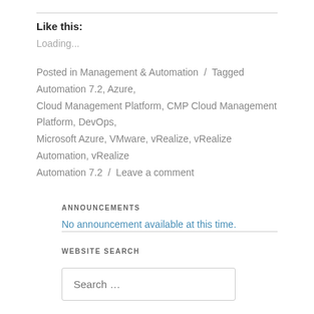Like this:
Loading...
Posted in Management & Automation  /  Tagged Automation 7.2, Azure, Cloud Management Platform, CMP Cloud Management Platform, DevOps, Microsoft Azure, VMware, vRealize, vRealize Automation, vRealize Automation 7.2  /  Leave a comment
ANNOUNCEMENTS
No announcement available at this time.
WEBSITE SEARCH
Search ...